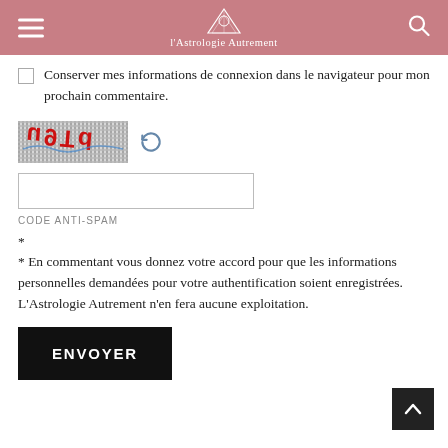l'Astrologie Autrement
Conserver mes informations de connexion dans le navigateur pour mon prochain commentaire.
[Figure (other): CAPTCHA image with distorted text 'u9Td' on grainy background, with a refresh icon next to it]
CODE ANTI-SPAM
*
* En commentant vous donnez votre accord pour que les informations personnelles demandées pour votre authentification soient enregistrées. L'Astrologie Autrement n'en fera aucune exploitation.
ENVOYER